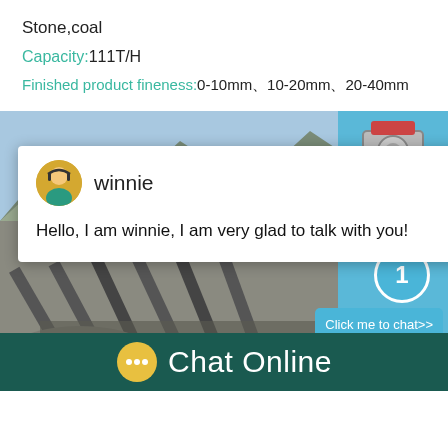Stone,coal
Capacity:111T/H
Finished product fineness:0-10mm、10-20mm、20-40mm
[Figure (photo): Quarry/stone crushing plant site with conveyor belts, crushers and mountains in background. Overlaid with a live chat popup showing avatar of agent 'winnie' with message 'Hello, I am winnie, I am very glad to talk with you!' and a 'Click me to chat>>' button on the right side.]
Chat Online